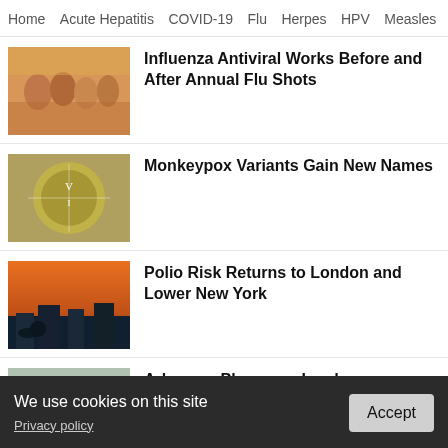Home  Acute Hepatitis  COVID-19  Flu  Herpes  HPV  Measles  RS...
Influenza Antiviral Works Before and After Annual Flu Shots
Monkeypox Variants Gain New Names
Polio Risk Returns to London and Lower New York
Arkansas Pharmacy Leads Monkeypox Vaccination Services
HPV Vaccine Booster Could Reduce Cervical Lesions
We use cookies on this site
Privacy policy